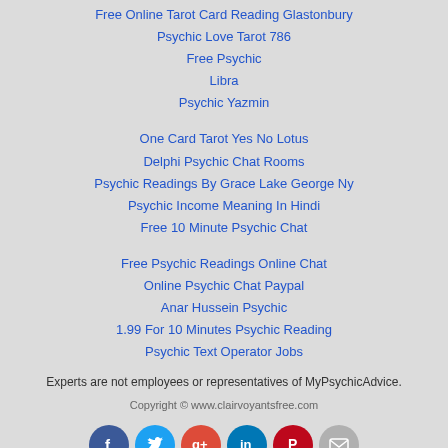Free Online Tarot Card Reading Glastonbury
Psychic Love Tarot 786
Free Psychic
Libra
Psychic Yazmin
One Card Tarot Yes No Lotus
Delphi Psychic Chat Rooms
Psychic Readings By Grace Lake George Ny
Psychic Income Meaning In Hindi
Free 10 Minute Psychic Chat
Free Psychic Readings Online Chat
Online Psychic Chat Paypal
Anar Hussein Psychic
1.99 For 10 Minutes Psychic Reading
Psychic Text Operator Jobs
Experts are not employees or representatives of MyPsychicAdvice.
Copyright © www.clairvoyantsfree.com
[Figure (infographic): Row of six circular social media icons: Facebook (blue), Twitter (cyan), Google+ (red), LinkedIn (dark blue), Pinterest (red), Email (grey)]